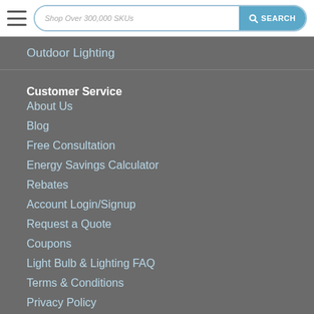Shop Over 300,000 SKUs | SEARCH
Outdoor Lighting
Customer Service
About Us
Blog
Free Consultation
Energy Savings Calculator
Rebates
Account Login/Signup
Request a Quote
Coupons
Light Bulb & Lighting FAQ
Terms & Conditions
Privacy Policy